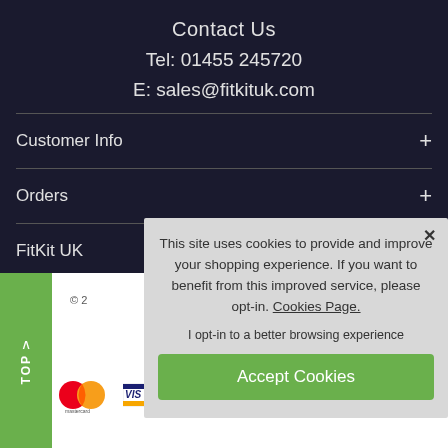Contact Us
Tel: 01455 245720
E: sales@fitkituk.com
Customer Info +
Orders +
FitKit UK +
[Figure (screenshot): Cookie consent popup overlay with text: 'This site uses cookies to provide and improve your shopping experience. If you want to benefit from this improved service, please opt-in. Cookies Page.' and 'I opt-in to a better browsing experience', with an Accept Cookies green button]
© 2
[Figure (logo): Mastercard logo and partial Visa logo payment icons]